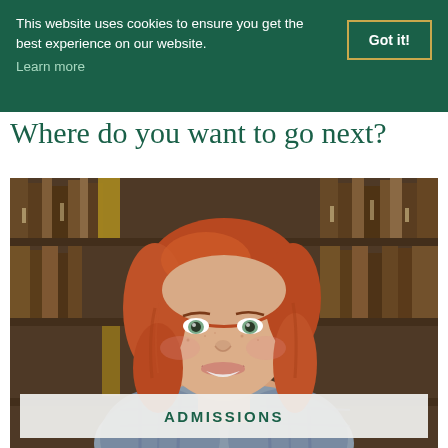This website uses cookies to ensure you get the best experience on our website. Learn more
Got it!
Where do you want to go next?
[Figure (photo): Professional headshot of a woman with red hair wearing a plaid blazer, smiling, with a bookshelf of old leather-bound books in the background.]
ADMISSIONS